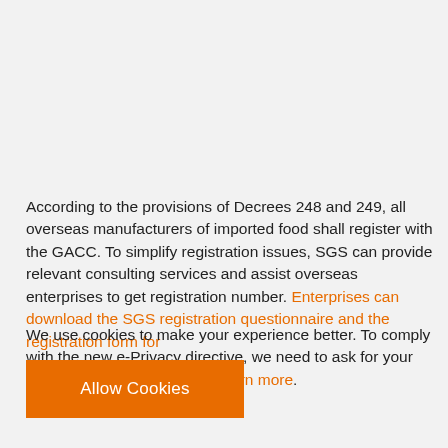According to the provisions of Decrees 248 and 249, all overseas manufacturers of imported food shall register with the GACC. To simplify registration issues, SGS can provide relevant consulting services and assist overseas enterprises to get registration number. Enterprises can download the SGS registration questionnaire and the registration form for
We use cookies to make your experience better. To comply with the new e-Privacy directive, we need to ask for your consent to set the cookies. Learn more.
Allow Cookies